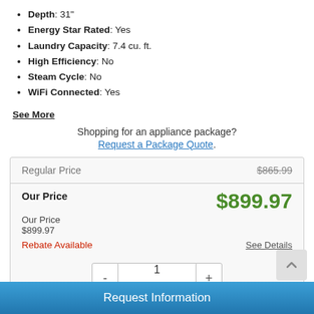Depth: 31"
Energy Star Rated: Yes
Laundry Capacity: 7.4 cu. ft.
High Efficiency: No
Steam Cycle: No
WiFi Connected: Yes
See More
Shopping for an appliance package? Request a Package Quote.
|  |  |
| --- | --- |
| Regular Price | $865.99 |
| Our Price | $899.97 |
| Our Price |  |
| $899.97 |  |
| Rebate Available | See Details |